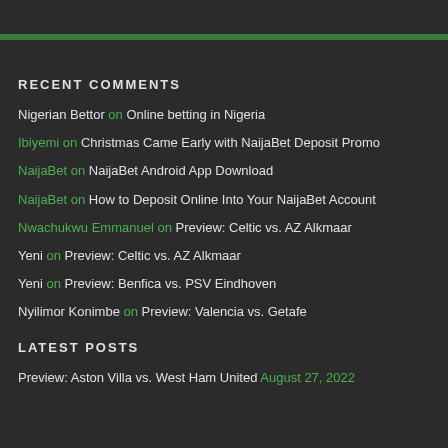RECENT COMMENTS
Nigerian Bettor on Online betting in Nigeria
Ibiyemi on Christmas Came Early with NaijaBet Deposit Promo
NaijaBet on NaijaBet Android App Download
NaijaBet on How to Deposit Online Into Your NaijaBet Account
Nwachukwu Emmanuel on Preview: Celtic vs. AZ Alkmaar
Yeni on Preview: Celtic vs. AZ Alkmaar
Yeni on Preview: Benfica vs. PSV Eindhoven
Nyilimor Konimbe on Preview: Valencia vs. Getafe
LATEST POSTS
Preview: Aston Villa vs. West Ham United August 27, 2022